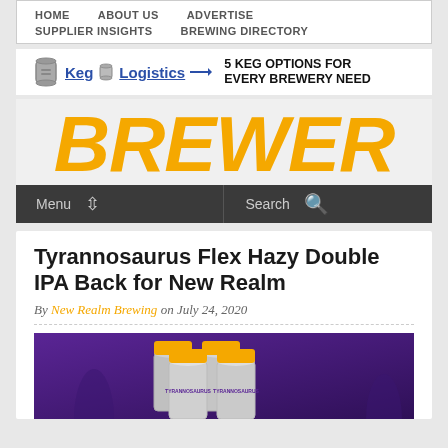HOME   ABOUT US   ADVERTISE   SUPPLIER INSIGHTS   BREWING DIRECTORY
[Figure (logo): Keg Logistics logo with keg icon and arrow, with ad text: 5 KEG OPTIONS FOR EVERY BREWERY NEED]
BREWER
Menu   Search
Tyrannosaurus Flex Hazy Double IPA Back for New Realm
By New Realm Brewing on July 24, 2020
[Figure (photo): Product photo of Tyrannosaurus Flex Hazy Double IPA beer cans in a 4-pack, purple/tropical themed packaging with orange lids, on a purple background]